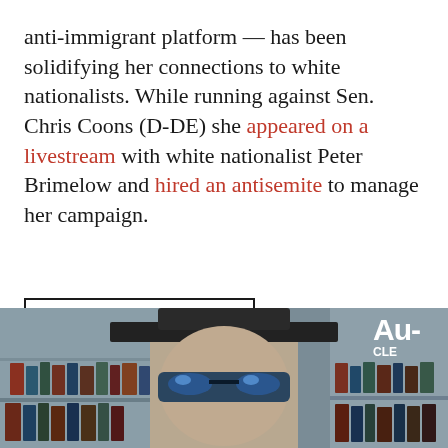anti-immigrant platform — has been solidifying her connections to white nationalists. While running against Sen. Chris Coons (D-DE) she appeared on a livestream with white nationalist Peter Brimelow and hired an antisemite to manage her campaign.
CONTINUE READING →
[Figure (photo): Photo of a person wearing a wide-brimmed hat and blue reflective sunglasses, with bookshelves visible in the background. On the right side, partially visible text reads 'AU-' and below it possibly a publication name.]